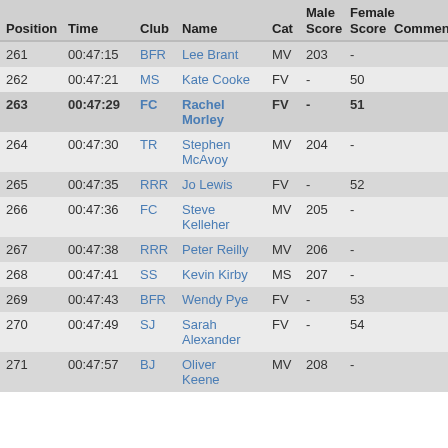| Position | Time | Club | Name | Cat | Male Score | Female Score | Comment |
| --- | --- | --- | --- | --- | --- | --- | --- |
| 261 | 00:47:15 | BFR | Lee Brant | MV | 203 | - |  |
| 262 | 00:47:21 | MS | Kate Cooke | FV | - | 50 |  |
| 263 | 00:47:29 | FC | Rachel Morley | FV | - | 51 |  |
| 264 | 00:47:30 | TR | Stephen McAvoy | MV | 204 | - |  |
| 265 | 00:47:35 | RRR | Jo Lewis | FV | - | 52 |  |
| 266 | 00:47:36 | FC | Steve Kelleher | MV | 205 | - |  |
| 267 | 00:47:38 | RRR | Peter Reilly | MV | 206 | - |  |
| 268 | 00:47:41 | SS | Kevin Kirby | MS | 207 | - |  |
| 269 | 00:47:43 | BFR | Wendy Pye | FV | - | 53 |  |
| 270 | 00:47:49 | SJ | Sarah Alexander | FV | - | 54 |  |
| 271 | 00:47:57 | BJ | Oliver Keene | MV | 208 | - |  |